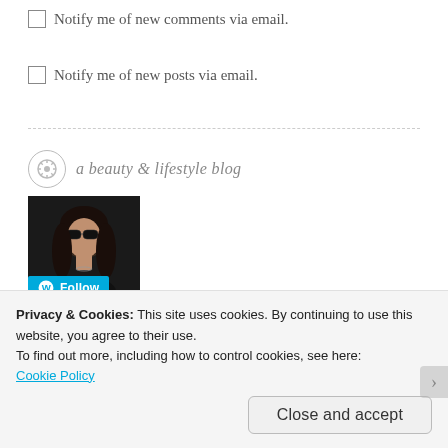Notify me of new comments via email.
Notify me of new posts via email.
a beauty & lifestyle blog
[Figure (photo): Profile photo of a woman with sunglasses and long dark hair, wearing dark clothing, with a WordPress Follow button overlay]
Privacy & Cookies: This site uses cookies. By continuing to use this website, you agree to their use.
To find out more, including how to control cookies, see here: Cookie Policy
Close and accept